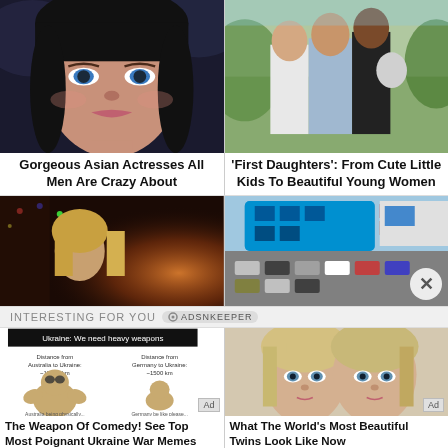[Figure (photo): Close-up of a young woman with dark hair and blue eyes, glamour portrait]
Gorgeous Asian Actresses All Men Are Crazy About
[Figure (photo): Three women standing together outdoors, casual clothing]
'First Daughters': From Cute Little Kids To Beautiful Young Women
[Figure (photo): Blonde woman in dim warm lighting, moody cinematic scene]
[Figure (photo): Blue glass commercial building and strip mall with parking lot]
INTERESTING FOR YOU
[Figure (photo): Ukraine war meme image: muscular dog labeled Australia vs small dog labeled Germany with text about distances to Ukraine]
The Weapon Of Comedy! See Top Most Poignant Ukraine War Memes
[Figure (photo): Two young blonde girls with blue eyes looking at camera]
What The World's Most Beautiful Twins Look Like Now